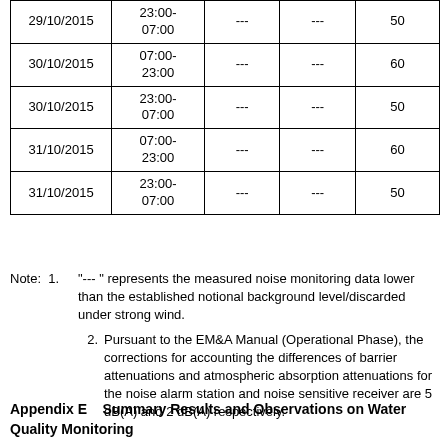| Date | Time |  |  | Limit |
| --- | --- | --- | --- | --- |
| 29/10/2015 | 23:00-
07:00 | --- | --- | 50 |
| 30/10/2015 | 07:00-
23:00 | --- | --- | 60 |
| 30/10/2015 | 23:00-
07:00 | --- | --- | 50 |
| 31/10/2015 | 07:00-
23:00 | --- | --- | 60 |
| 31/10/2015 | 23:00-
07:00 | --- | --- | 50 |
1. "--- " represents the measured noise monitoring data lower than the established notional background level/discarded under strong wind.
2. Pursuant to the EM&A Manual (Operational Phase), the corrections for accounting the differences of barrier attenuations and atmospheric absorption attenuations for the noise alarm station and noise sensitive receiver are 5 dB(A) and 2 dB(A) respectively.
Appendix E    Summary Results and Observations on Water Quality Monitoring